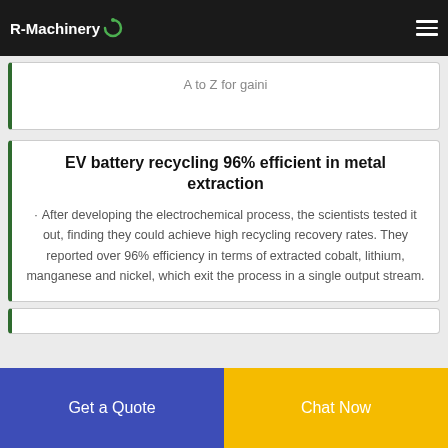R-Machinery
A to Z for gaini
EV battery recycling 96% efficient in metal extraction
After developing the electrochemical process, the scientists tested it out, finding they could achieve high recycling recovery rates. They reported over 96% efficiency in terms of extracted cobalt, lithium, manganese and nickel, which exit the process in a single output stream.